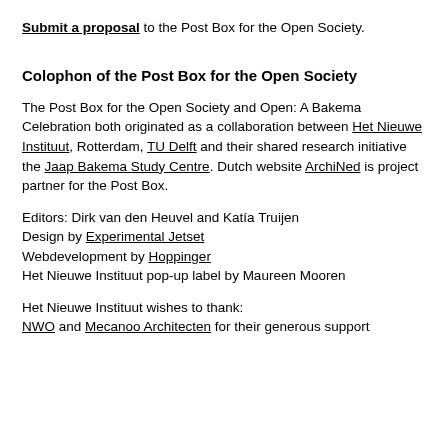Submit a proposal to the Post Box for the Open Society.
Colophon of the Post Box for the Open Society
The Post Box for the Open Society and Open: A Bakema Celebration both originated as a collaboration between Het Nieuwe Instituut, Rotterdam, TU Delft and their shared research initiative the Jaap Bakema Study Centre. Dutch website ArchiNed is project partner for the Post Box.
Editors: Dirk van den Heuvel and Katia Truijen
Design by Experimental Jetset
Webdevelopment by Hoppinger
Het Nieuwe Instituut pop-up label by Maureen Mooren
Het Nieuwe Instituut wishes to thank:
NWO and Mecanoo Architecten for their generous support